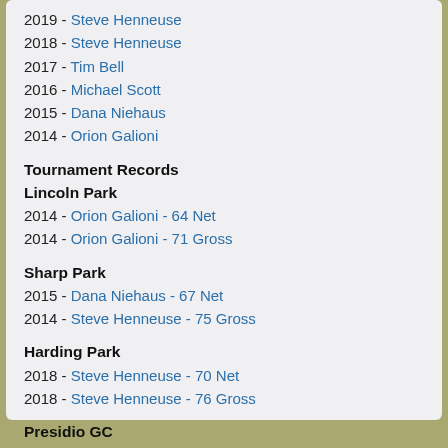2019 - Steve Henneuse
2018 - Steve Henneuse
2017 - Tim Bell
2016 - Michael Scott
2015 - Dana Niehaus
2014 - Orion Galioni
Tournament Records
Lincoln Park
2014 - Orion Galioni - 64 Net
2014 - Orion Galioni - 71 Gross
Sharp Park
2015 - Dana Niehaus - 67 Net
2014 - Steve Henneuse - 75 Gross
Harding Park
2018 - Steve Henneuse - 70 Net
2018 - Steve Henneuse - 76 Gross
Presidio GC
2019 - Steve Henneuse - 68 Net
2019 - Steve Henneuse - 73 Gross